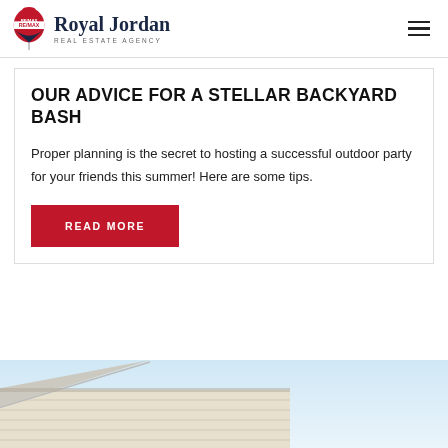RE/MAX Royal Jordan Real Estate Agency
OUR ADVICE FOR A STELLAR BACKYARD BASH
Proper planning is the secret to hosting a successful outdoor party for your friends this summer! Here are some tips.
READ MORE
[Figure (photo): Partial view of a residential house roofline with beige siding against a light blue sky]